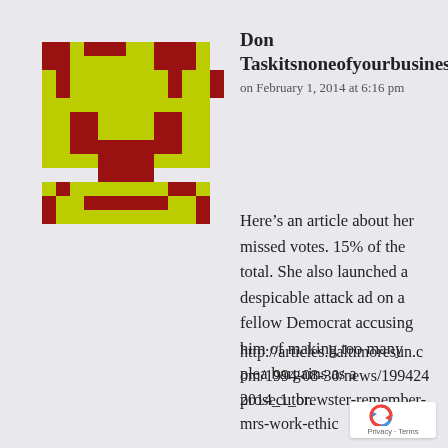[Figure (illustration): Pixel art avatar icon with dark red and yellow-green colors in an 8-bit robot/alien style]
Don Taskitsnoneofyourbusiness
on February 1, 2014 at 6:16 pm
Here’s an article about her missed votes. 15% of the total. She also launched a despicable attack ad on a fellow Democrat accusing him of making too many plea bargains as a prosecutor.
http://articles.baltimoresun.com/1994-08-30/news/1994242014_1_brewster-remember-mrs-work-ethic
[Figure (logo): reCAPTCHA badge with Privacy and Terms text]